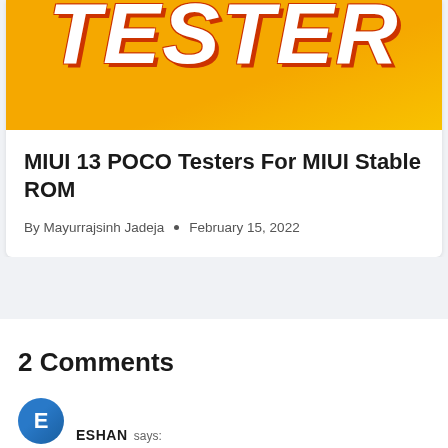[Figure (illustration): Yellow/orange gradient banner with large bold white italic text reading TESTER with a red drop shadow, partially cropped]
MIUI 13 POCO Testers For MIUI Stable ROM
By Mayurrajsinh Jadeja • February 15, 2022
2 Comments
ESHAN says: